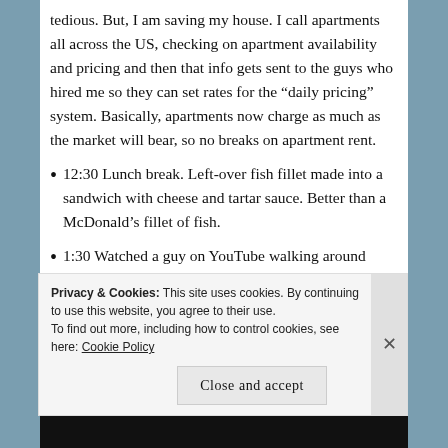tedious. But, I am saving my house. I call apartments all across the US, checking on apartment availability and pricing and then that info gets sent to the guys who hired me so they can set rates for the “daily pricing” system. Basically, apartments now charge as much as the market will bear, so no breaks on apartment rent.
12:30 Lunch break. Left-over fish fillet made into a sandwich with cheese and tartar sauce. Better than a McDonald’s fillet of fish.
1:30 Watched a guy on YouTube walking around Yokohama, Japan while I ate my lunch.
1:05 Finished working for the day. Highlights from...
Privacy & Cookies: This site uses cookies. By continuing to use this website, you agree to their use.
To find out more, including how to control cookies, see here: Cookie Policy
Close and accept